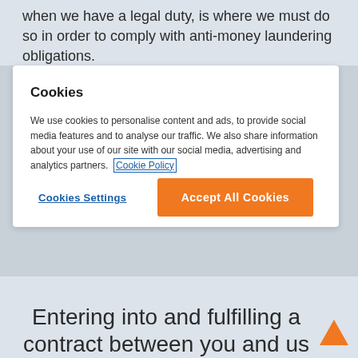when we have a legal duty, is where we must do so in order to comply with anti-money laundering obligations.
Cookies
We use cookies to personalise content and ads, to provide social media features and to analyse our traffic. We also share information about your use of our site with our social media, advertising and analytics partners. Cookie Policy
Cookies Settings
Accept All Cookies
us with your personal data is optional, we will inform you of this. Our purposes are grouped under our legal bases for processing.
Entering into and fulfilling a contract between you and us